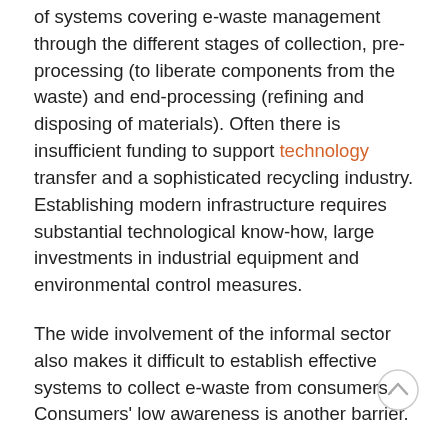of systems covering e-waste management through the different stages of collection, pre-processing (to liberate components from the waste) and end-processing (refining and disposing of materials). Often there is insufficient funding to support technology transfer and a sophisticated recycling industry. Establishing modern infrastructure requires substantial technological know-how, large investments in industrial equipment and environmental control measures.
The wide involvement of the informal sector also makes it difficult to establish effective systems to collect e-waste from consumers. Consumers' low awareness is another barrier.
Global recycling
But there is a way to offer affordable and environmentally friendly recycling for developing